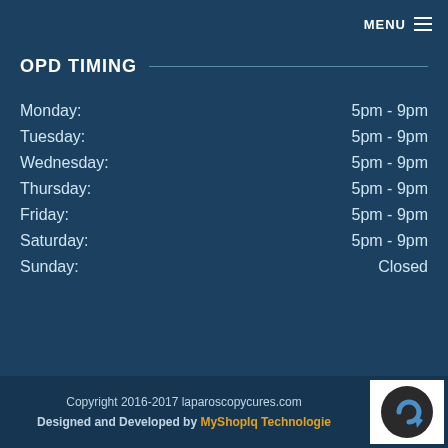MENU
OPD TIMING
| Day | Hours |
| --- | --- |
| Monday: | 5pm - 9pm |
| Tuesday: | 5pm - 9pm |
| Wednesday: | 5pm - 9pm |
| Thursday: | 5pm - 9pm |
| Friday: | 5pm - 9pm |
| Saturday: | 5pm - 9pm |
| Sunday: | Closed |
Copyright 2016-2017 laparoscopycures.com
Designed and Developed by MyShopIq Technologies